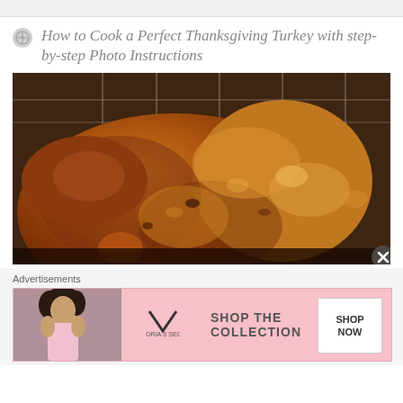How to Cook a Perfect Thanksgiving Turkey with step-by-step Photo Instructions
[Figure (photo): A roasted Thanksgiving turkey with golden-brown crispy skin, sitting on a wire rack in a roasting pan inside an oven.]
Advertisements
[Figure (infographic): Victoria's Secret advertisement banner: SHOP THE COLLECTION - SHOP NOW button, pink background with Victoria's Secret logo.]